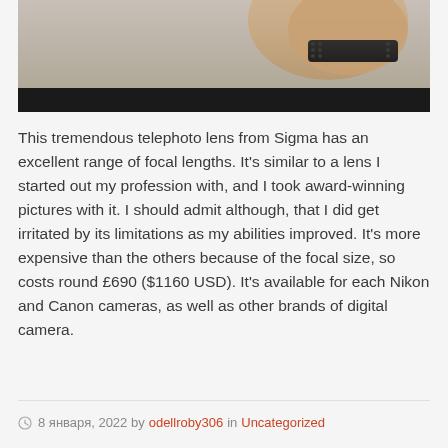[Figure (photo): Top portion of a photo showing a hand/wrist with a dark watch band, with a dark black strip at the bottom of the image.]
This tremendous telephoto lens from Sigma has an excellent range of focal lengths. It's similar to a lens I started out my profession with, and I took award-winning pictures with it. I should admit although, that I did get irritated by its limitations as my abilities improved. It's more expensive than the others because of the focal size, so costs round £690 ($1160 USD). It's available for each Nikon and Canon cameras, as well as other brands of digital camera.
8 января, 2022 by odellroby306 in Uncategorized